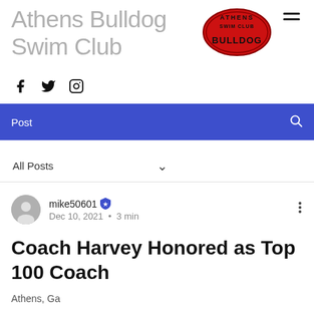Athens Bulldog Swim Club
[Figure (logo): Athens Bulldog Swim Club red oval logo with text ATHENS SWIM CLUB BULLDOG]
[Figure (infographic): Navigation bar with Post label and search icon on blue background]
All Posts
mike50601 • Dec 10, 2021 • 3 min
Coach Harvey Honored as Top 100 Coach
Athens, Ga